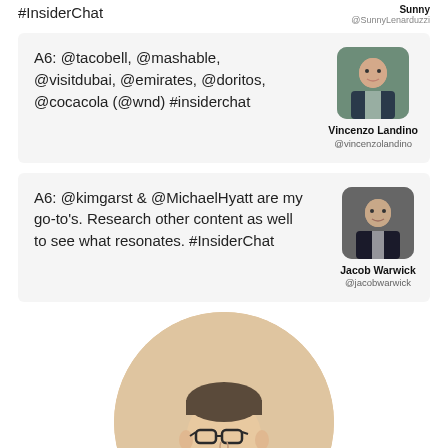#InsiderChat
Sunny
@SunnyLenarduzzi
A6: @tacobell, @mashable, @visitdubai, @emirates, @doritos, @cocacola (@wnd) #insiderchat
Vincenzo Landino
@vincenzolandino
A6: @kimgarst & @MichaelHyatt are my go-to's. Research other content as well to see what resonates. #InsiderChat
Jacob Warwick
@jacobwarwick
[Figure (photo): A smiling man with short hair and glasses wearing a tan/camel colored sweater, photographed against a beige background, displayed in a circular crop]